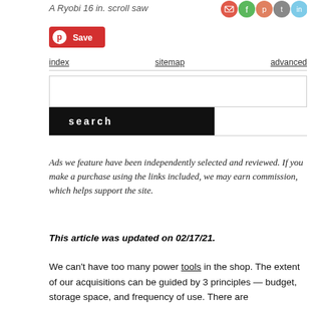A Ryobi 16 in. scroll saw
[Figure (other): Row of five circular social media share buttons: email (red), share (green), Pinterest (orange), Twitter (dark grey), LinkedIn (light blue)]
[Figure (other): Pinterest Save button (red background with Pinterest icon and 'Save' text)]
index   sitemap   advanced
search (search input box and black search button)
Ads we feature have been independently selected and reviewed. If you make a purchase using the links included, we may earn commission, which helps support the site.
This article was updated on 02/17/21.
We can't have too many power tools in the shop. The extent of our acquisitions can be guided by 3 principles — budget, storage space, and frequency of use. There are